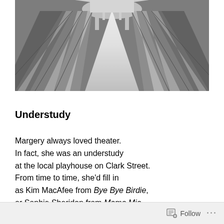[Figure (photo): Black and white photograph of church pews viewed from the back of a church, perspective lines converging toward the altar at the far end, creating a symmetric vanishing point composition.]
Understudy
Margery always loved theater.
In fact, she was an understudy
at the local playhouse on Clark Street.
From time to time, she'd fill in
as Kim MacAfee from Bye Bye Birdie,
or Sophie Sheridan from Mama Mia,
Dr. Frank-N-Furter from The Rocky Horror
Picture Show, or those were the part...
Follow ...